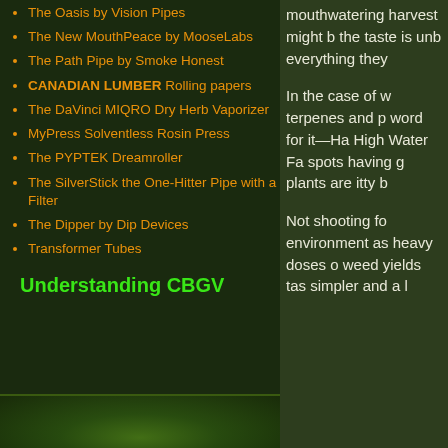The Oasis by Vision Pipes
The New MouthPeace by MooseLabs
The Path Pipe by Smoke Honest
CANADIAN LUMBER Rolling papers
The DaVinci MIQRO Dry Herb Vaporizer
MyPress Solventless Rosin Press
The PYPTEK Dreamroller
The SilverStick the One-Hitter Pipe with a Filter
The Dipper by Dip Devices
Transformer Tubes
Understanding CBGV
mouthwatering harvest might b the taste is unb everything they
In the case of w terpenes and p word for it—Ha High Water Fa spots having g plants are itty b
Not shooting fo environment as heavy doses o weed yields tas simpler and a l
[Figure (photo): Cannabis plant close-up at bottom of left column]